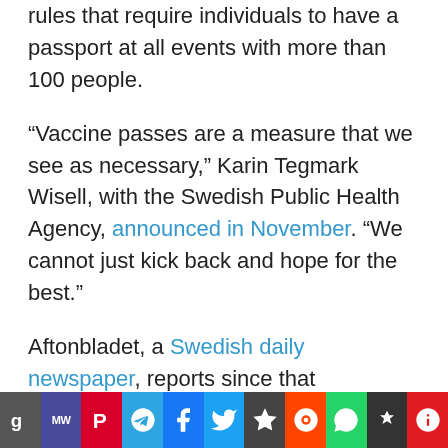rules that require individuals to have a passport at all events with more than 100 people.
“Vaccine passes are a measure that we see as necessary,” Karin Tegmark Wisell, with the Swedish Public Health Agency, announced in November. “We cannot just kick back and hope for the best.”
Aftonbladet, a Swedish daily newspaper, reports since that announcement the number of people who have chosen to receive a microchip in place of carrying a
social share icons